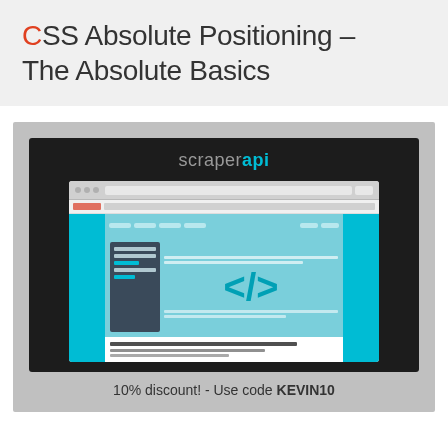CSS Absolute Positioning – The Absolute Basics
[Figure (screenshot): ScraperAPI promotional banner showing a browser mockup with CSS/HTML code symbol (</>) on a teal background, with ScraperAPI logo at top]
10% discount! - Use code KEVIN10